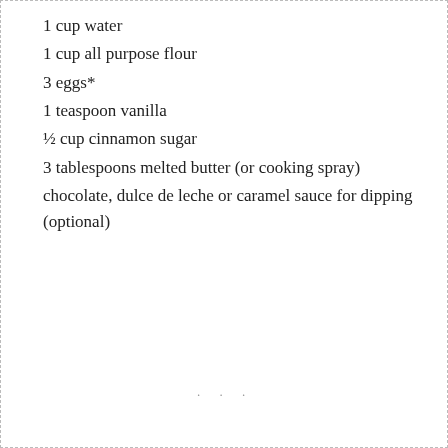1 cup water
1 cup all purpose flour
3 eggs*
1 teaspoon vanilla
½ cup cinnamon sugar
3 tablespoons melted butter (or cooking spray)
chocolate, dulce de leche or caramel sauce for dipping (optional)